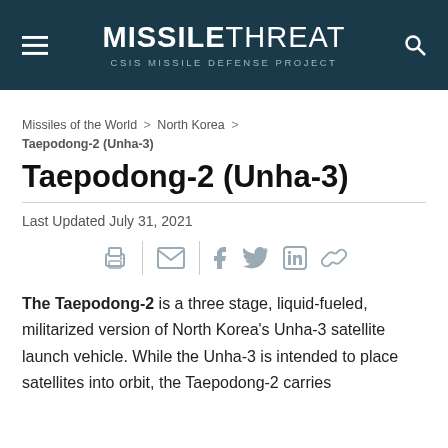MISSILETHREAT — CSIS MISSILE DEFENSE PROJECT
Missiles of the World > North Korea > Taepodong-2 (Unha-3)
Taepodong-2 (Unha-3)
Last Updated July 31, 2021
[Figure (other): Share bar with icons for print, email, Facebook, Twitter, LinkedIn, and link]
The Taepodong-2 is a three stage, liquid-fueled, militarized version of North Korea's Unha-3 satellite launch vehicle. While the Unha-3 is intended to place satellites into orbit, the Taepodong-2 carries